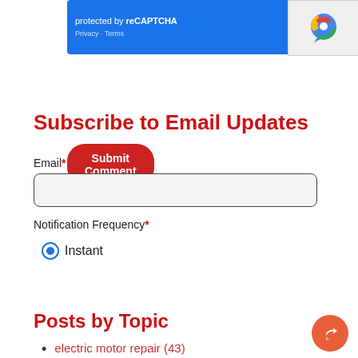[Figure (screenshot): reCAPTCHA widget showing blue panel with 'protected by reCAPTCHA' text, Privacy and Terms links, and reCAPTCHA logo on grey background]
Submit Comment
Subscribe to Email Updates
Email*
Notification Frequency*
Instant
Subscribe
Posts by Topic
electric motor repair (43)
predictive maintenance (22)
Case Study (17)